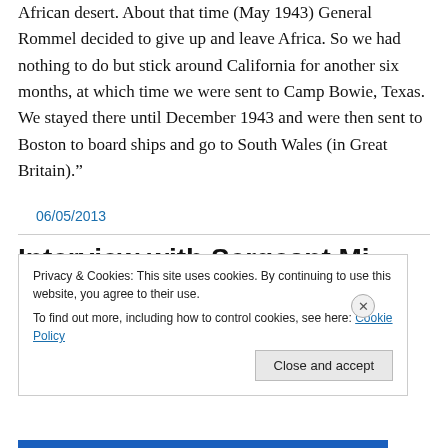African desert. About that time (May 1943) General Rommel decided to give up and leave Africa. So we had nothing to do but stick around California for another six months, at which time we were sent to Camp Bowie, Texas. We stayed there until December 1943 and were then sent to Boston to board ships and go to South Wales (in Great Britain).”
06/05/2013
Interview with Sergeant Mi...
Privacy & Cookies: This site uses cookies. By continuing to use this website, you agree to their use.
To find out more, including how to control cookies, see here: Cookie Policy
Close and accept